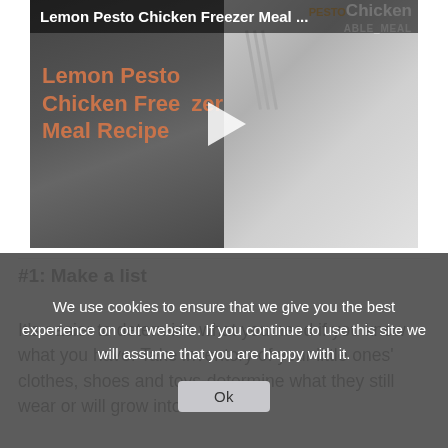[Figure (screenshot): Video thumbnail for 'Lemon Pesto Chicken Freezer Meal...' showing a split image: left half is a dark background with orange text reading 'Lemon Pesto Chicken Freeze Meal Recipe' and a play button in the center; right half shows a plate of pasta/chicken dish with a fork. A title bar at the top reads the video title.]
#1: Make a list
It's easier to determine what you need if you know what you have. Take inventory of your little ones' clothes, shoes and toys-determine what they still wear or will grow into. Make
We use cookies to ensure that we give you the best experience on our website. If you continue to use this site we will assume that you are happy with it.